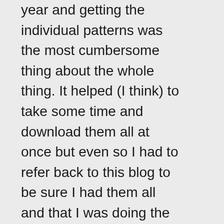year and getting the individual patterns was the most cumbersome thing about the whole thing. It helped (I think) to take some time and download them all at once but even so I had to refer back to this blog to be sure I had them all and that I was doing the correct number of each square. Could have been partly my problem although I have never officially been diagnosed with OCD. 😌😌. In short, it will require a fairly